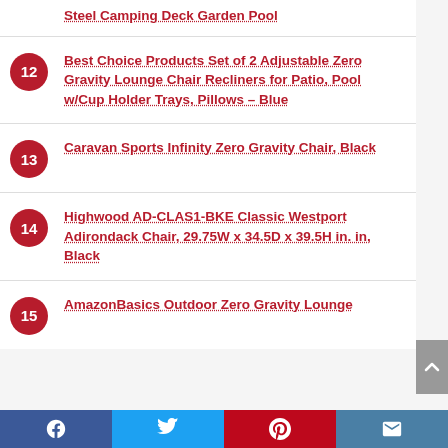Steel Camping Deck Garden Pool
12 Best Choice Products Set of 2 Adjustable Zero Gravity Lounge Chair Recliners for Patio, Pool w/Cup Holder Trays, Pillows – Blue
13 Caravan Sports Infinity Zero Gravity Chair, Black
14 Highwood AD-CLAS1-BKE Classic Westport Adirondack Chair, 29.75W x 34.5D x 39.5H in. in, Black
15 AmazonBasics Outdoor Zero Gravity Lounge